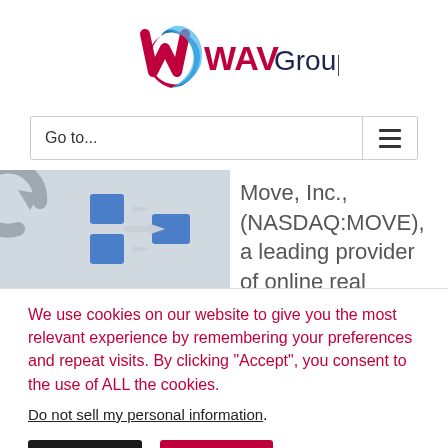[Figure (logo): WAV Group logo — stylized W in red/blue ribbon with 'WAVGroup' text in dark navy]
[Figure (screenshot): Navigation bar with 'Go to...' text and hamburger menu icon on the right]
[Figure (illustration): Website article preview showing blue square icons with arrows and grey circular arrow icon on the left, with text 'Move, Inc., (NASDAQ:MOVE), a leading provider of online real' on the right]
We use cookies on our website to give you the most relevant experience by remembering your preferences and repeat visits. By clicking “Accept”, you consent to the use of ALL the cookies.
Do not sell my personal information.
Settings
Accept